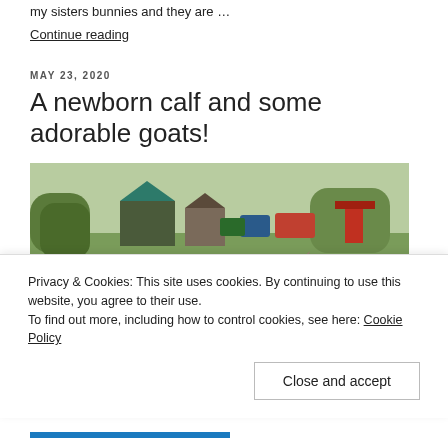my sisters bunnies and they are …
Continue reading
MAY 23, 2020
A newborn calf and some adorable goats!
[Figure (photo): Close-up photo of a goat on a farm, with farm buildings and green grass with yellow dandelions in the background]
Privacy & Cookies: This site uses cookies. By continuing to use this website, you agree to their use.
To find out more, including how to control cookies, see here: Cookie Policy
Close and accept